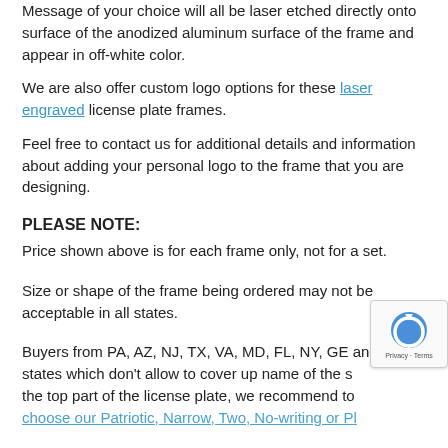Message of your choice will all be laser etched directly onto surface of the anodized aluminum surface of the frame and appear in off-white color.
We are also offer custom logo options for these laser engraved license plate frames.
Feel free to contact us for additional details and information about adding your personal logo to the frame that you are designing.
PLEASE NOTE:
Price shown above is for each frame only, not for a set.
Size or shape of the frame being ordered may not be acceptable in all states.
Buyers from PA, AZ, NJ, TX, VA, MD, FL, NY, GE and other states which don't allow to cover up name of the state on the top part of the license plate, we recommend to choose our Patriotic, Narrow, Two, No-writing or Large Plate frames.